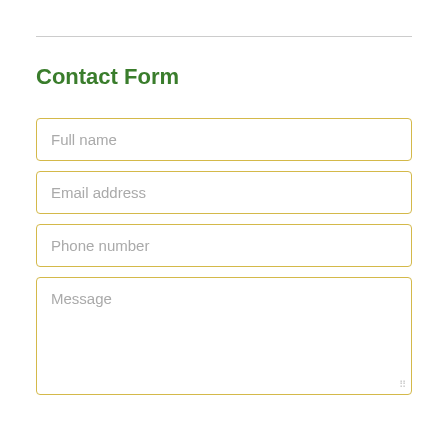Contact Form
Full name
Email address
Phone number
Message